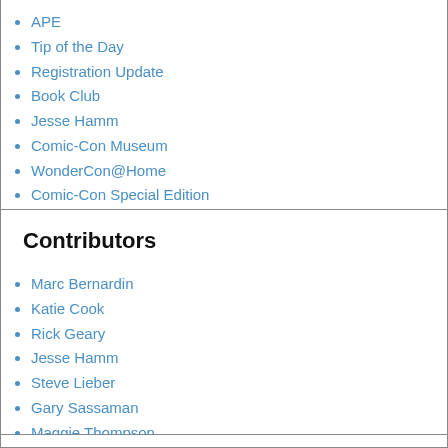APE
Tip of the Day
Registration Update
Book Club
Jesse Hamm
Comic-Con Museum
WonderCon@Home
Comic-Con Special Edition
Contributors
Marc Bernardin
Katie Cook
Rick Geary
Jesse Hamm
Steve Lieber
Gary Sassaman
Maggie Thompson